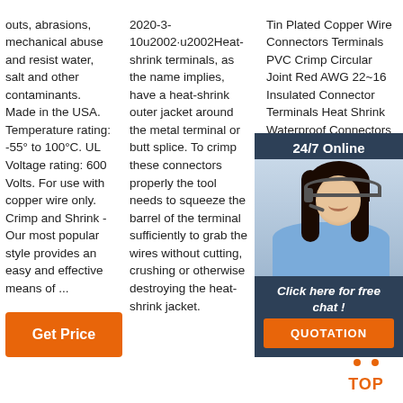outs, abrasions, mechanical abuse and resist water, salt and other contaminants. Made in the USA. Temperature rating: -55° to 100°C. UL Voltage rating: 600 Volts. For use with copper wire only. Crimp and Shrink - Our most popular style provides an easy and effective means of ...
[Figure (other): Orange 'Get Price' button]
2020-3-10u2002·u2002Heat-shrink terminals, as the name implies, have a heat-shrink outer jacket around the metal terminal or butt splice. To crimp these connectors properly the tool needs to squeeze the barrel of the terminal sufficiently to grab the wires without cutting, crushing or otherwise destroying the heat-shrink jacket.
Tin Plated Copper Wire Connectors Terminals PVC Crimp Circular Joint Red AWG 22~16 Insulated Connector Terminals Heat Shrink Waterproof Connectors Waterproof Shrink Connectors Terminals 5. Terminal Assortment Kit. Heat shrink electrical connector kit solder wire splice KLI-9850179
[Figure (photo): Chat widget overlay with woman wearing headset, '24/7 Online' header, 'Click here for free chat!' text, and orange QUOTATION button]
[Figure (logo): Orange TOP icon with triangle dots above text 'TOP']